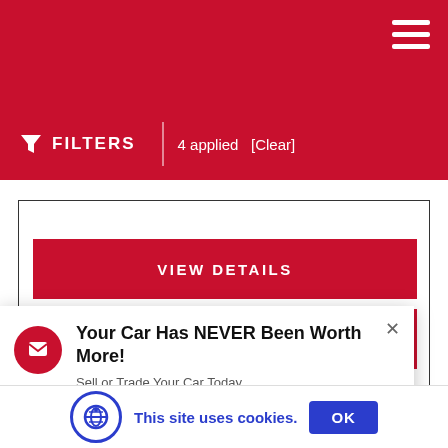FILTERS  4 applied  [Clear]
VIEW DETAILS
OEM NISSAN WINDOW STICKER
Your Car Has NEVER Been Worth More!
Sell or Trade Your Car Today.
This site uses cookies.  OK